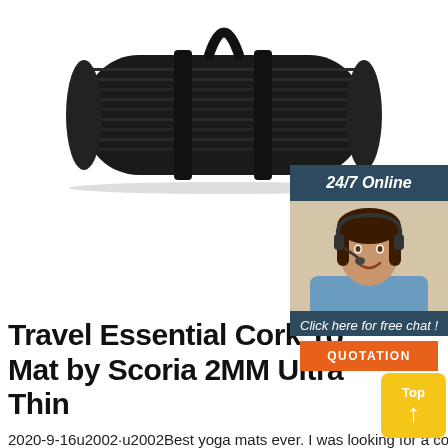[Figure (photo): A rolled-up black yoga/exercise mat with carrying strap, shown on white background]
[Figure (infographic): 24/7 Online chat widget showing a female customer service agent with headset, 'Click here for free chat!' text, and a QUOTATION button]
Travel Essential Cork Yoga Mat by Scoria 2MM Ultra Thin
2020-9-16u2002·u2002Best yoga mats ever. I was looking for a cork mat & have bought 4 so far. 2 kids mats for my niece & nephew. They love the beautiful design & I'm happy to see them stretching on their mats and practicing postures at a young age. I have the travel mat and keep it in my vehicle for yoga class. Finally I'm not